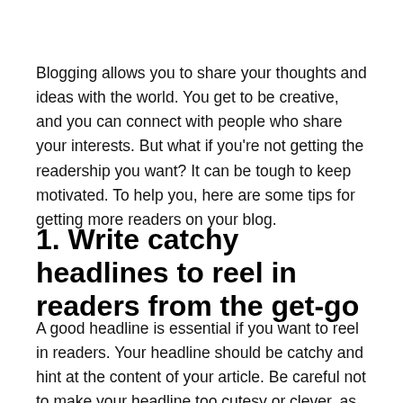Blogging allows you to share your thoughts and ideas with the world. You get to be creative, and you can connect with people who share your interests. But what if you're not getting the readership you want? It can be tough to keep motivated. To help you, here are some tips for getting more readers on your blog.
1. Write catchy headlines to reel in readers from the get-go
A good headline is essential if you want to reel in readers. Your headline should be catchy and hint at the content of your article. Be careful not to make your headline too cutesy or clever, as this can turn off potential readers.